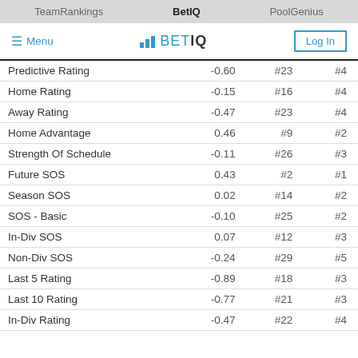TeamRankings   BetIQ   PoolGenius
|  |  |  |  |
| --- | --- | --- | --- |
| Predictive Rating | -0.60 | #23 | #4 |
| Home Rating | -0.15 | #16 | #4 |
| Away Rating | -0.47 | #23 | #4 |
| Home Advantage | 0.46 | #9 | #2 |
| Strength Of Schedule | -0.11 | #26 | #3 |
| Future SOS | 0.43 | #2 | #1 |
| Season SOS | 0.02 | #14 | #2 |
| SOS - Basic | -0.10 | #25 | #2 |
| In-Div SOS | 0.07 | #12 | #3 |
| Non-Div SOS | -0.24 | #29 | #5 |
| Last 5 Rating | -0.89 | #18 | #3 |
| Last 10 Rating | -0.77 | #21 | #3 |
| In-Div Rating | -0.47 | #22 | #4 |